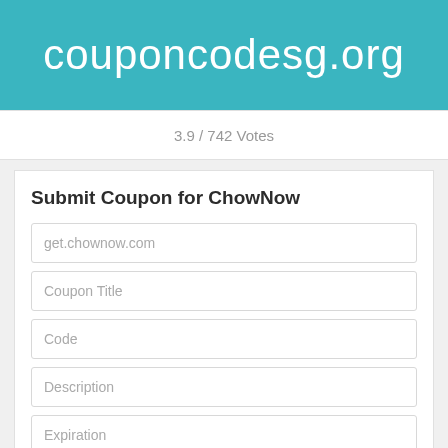couponcodesg.org
3.9 / 742 Votes
Submit Coupon for ChowNow
get.chownow.com
Coupon Title
Code
Description
Expiration
Submit